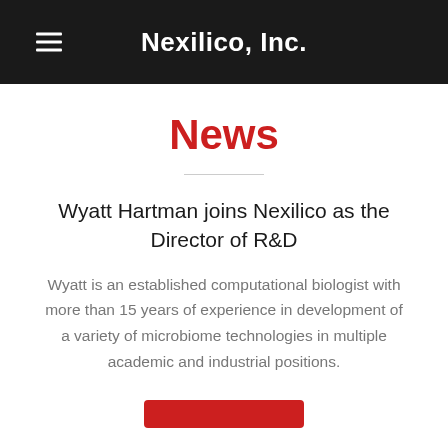Nexilico, Inc.
News
Wyatt Hartman joins Nexilico as the Director of R&D
Wyatt is an established computational biologist with more than 15 years of experience in development of a variety of microbiome technologies in multiple academic and industrial positions.